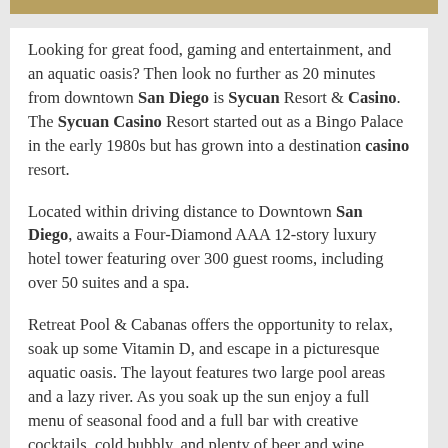[Figure (photo): Partial view of a resort or casino exterior with greenery and orange roof structures at the top of the page.]
Looking for great food, gaming and entertainment, and an aquatic oasis? Then look no further as 20 minutes from downtown San Diego is Sycuan Resort & Casino. The Sycuan Casino Resort started out as a Bingo Palace in the early 1980s but has grown into a destination casino resort.
Located within driving distance to Downtown San Diego, awaits a Four-Diamond AAA 12-story luxury hotel tower featuring over 300 guest rooms, including over 50 suites and a spa.
Retreat Pool & Cabanas offers the opportunity to relax, soak up some Vitamin D, and escape in a picturesque aquatic oasis. The layout features two large pool areas and a lazy river. As you soak up the sun enjoy a full menu of seasonal food and a full bar with creative cocktails, cold bubbly, and plenty of beer and wine.